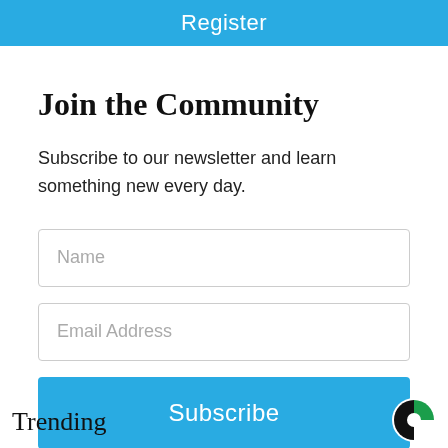Register
Join the Community
Subscribe to our newsletter and learn something new every day.
Name
Email Address
Subscribe
Trending